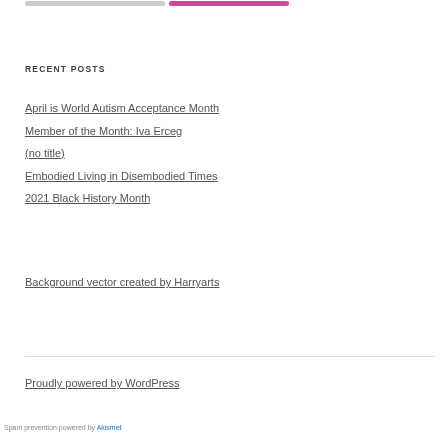[Figure (other): Top decorative progress/tag bar with gray and pink segments]
RECENT POSTS
April is World Autism Acceptance Month
Member of the Month: Iva Erceg
(no title)
Embodied Living in Disembodied Times
2021 Black History Month
Background vector created by Harryarts
Proudly powered by WordPress
Spam prevention powered by Akismet